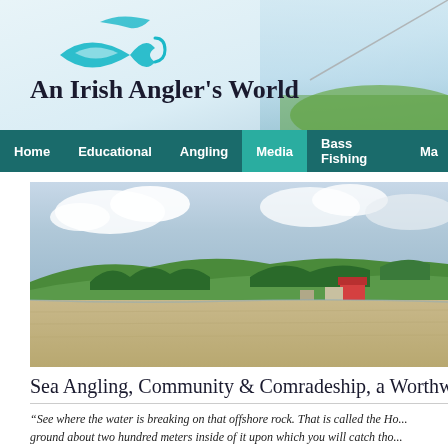[Figure (logo): Teal fish/wave logo for An Irish Angler's World website]
An Irish Angler's World
Home | Educational | Angling | Media | Bass Fishing | Ma...
[Figure (photo): Wide beach scene with sandy shore, green hills and trees in background, small buildings/houses visible, overcast sky]
Sea Angling, Community & Comradeship, a Worthwhile T
“See where the water is breaking on that offshore rock. That is called the Ho... ground about two hundred meters inside of it upon which you will catch tho...